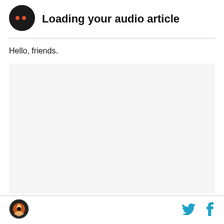[Figure (logo): Black circle with two orange/red dots, audio loading indicator]
Loading your audio article
Hello, friends.
[Figure (other): Light gray empty content box]
[Figure (logo): Sports team logo — eagle/hawk circular badge in orange and black]
[Figure (logo): Twitter bird icon in cyan/blue]
[Figure (logo): Facebook f icon in cyan/blue]